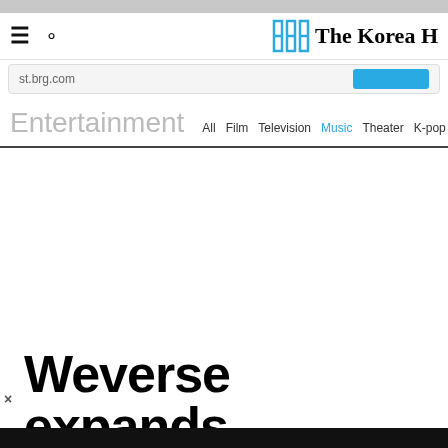The Korea Herald
st.brg.com
Entertainment  All  Film  Television  Music  Theater  K-pop  esports
Weverse expands
FAG Bearing Korea
FAG, SKF, NSK, NTN - Seoul Trading FAG Ball / Spherical